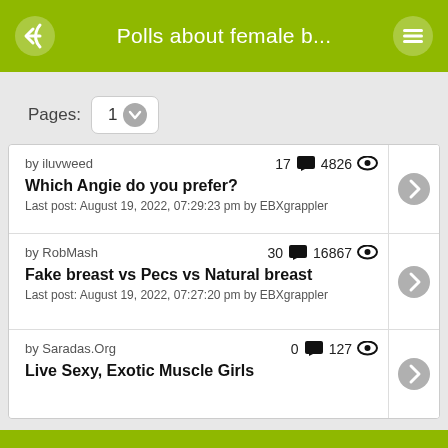Polls about female b...
Pages: 1
by iluvweed | 17 comments 4826 views | Which Angie do you prefer? | Last post: August 19, 2022, 07:29:23 pm by EBXgrappler
by RobMash | 30 comments 16867 views | Fake breast vs Pecs vs Natural breast | Last post: August 19, 2022, 07:27:20 pm by EBXgrappler
by Saradas.Org | 0 comments 127 views | Live Sexy, Exotic Muscle Girls